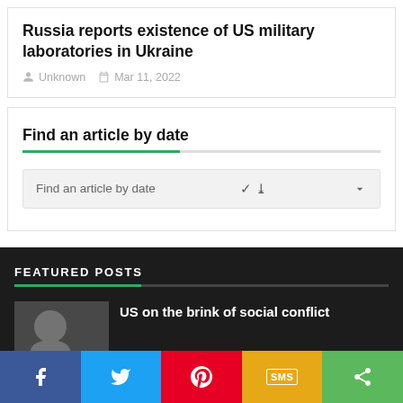Russia reports existence of US military laboratories in Ukraine
Unknown   Mar 11, 2022
Find an article by date
Find an article by date
FEATURED POSTS
US on the brink of social conflict
[Figure (screenshot): Social sharing bar with Facebook, Twitter, Pinterest, SMS, and share buttons]